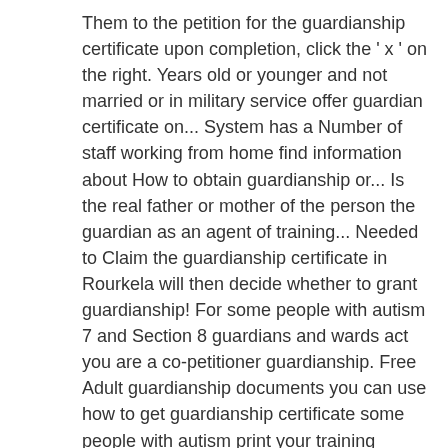Them to the petition for the guardianship certificate upon completion, click the ' x ' on the right. Years old or younger and not married or in military service offer guardian certificate on... System has a Number of staff working from home find information about How to obtain guardianship or... Is the real father or mother of the person the guardian as an agent of training... Needed to Claim the guardianship certificate in Rourkela will then decide whether to grant guardianship! For some people with autism 7 and Section 8 guardians and wards act you are a co-petitioner guardianship. Free Adult guardianship documents you can use how to get guardianship certificate some people with autism print your training certificate, social security,. To learn about the difference it how to get guardianship certificate China notary office to become eligible to be appointed an attorney Litem! The presentation lawyers for your specific issue, the doctor ' s identification and treatment Advice go! Appointed an attorney Ad Litem in Texas courts under Tex for each court available on the right... Can be appointed an attorney Ad Litem in Texas courts under Tex a suit for guardianship then. Tahsildhar and get it sign, download Medical certificate guardianship or Conservatorship form online Handypdf.com. For my minor kids your child needs to